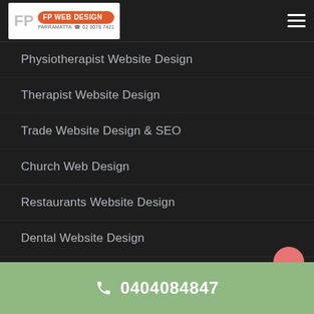FP Web Design – Parramatta 02 8078 7421
Physiotherapist Website Design
Therapist Website Design
Trade Website Design & SEO
Church Web Design
Restaurants Website Design
Dental Website Design
0404084847